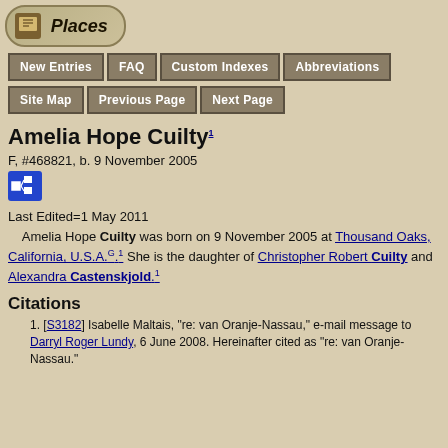[Figure (logo): Places logo with book/scroll icon in rounded rectangle button]
New Entries | FAQ | Custom Indexes | Abbreviations | Site Map | Previous Page | Next Page
Amelia Hope Cuilty1
F, #468821, b. 9 November 2005
[Figure (other): Blue family tree / pedigree chart icon]
Last Edited=1 May 2011
Amelia Hope Cuilty was born on 9 November 2005 at Thousand Oaks, California, U.S.A.G.1 She is the daughter of Christopher Robert Cuilty and Alexandra Castenskjold.1
Citations
[S3182] Isabelle Maltais, "re: van Oranje-Nassau," e-mail message to Darryl Roger Lundy, 6 June 2008. Hereinafter cited as "re: van Oranje-Nassau."